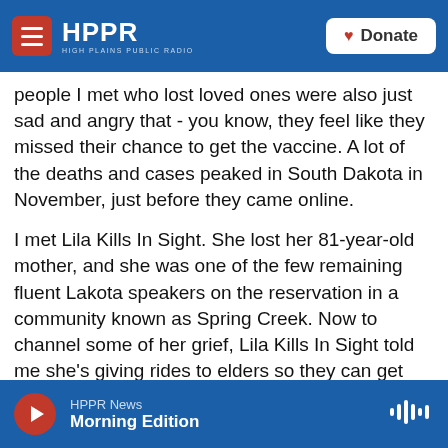HPPR HIGH PLAINS PUBLIC RADIO | Donate
people I met who lost loved ones were also just sad and angry that - you know, they feel like they missed their chance to get the vaccine. A lot of the deaths and cases peaked in South Dakota in November, just before they came online.
I met Lila Kills In Sight. She lost her 81-year-old mother, and she was one of the few remaining fluent Lakota speakers on the reservation in a community known as Spring Creek. Now to channel some of her grief, Lila Kills In Sight told me she's giving rides to elders so they can get vaccinated.
HPPR News Morning Edition